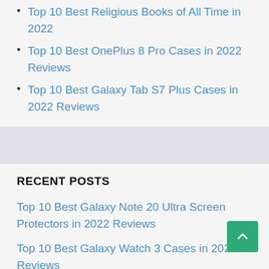Top 10 Best Religious Books of All Time in 2022
Top 10 Best OnePlus 8 Pro Cases in 2022 Reviews
Top 10 Best Galaxy Tab S7 Plus Cases in 2022 Reviews
RECENT POSTS
Top 10 Best Galaxy Note 20 Ultra Screen Protectors in 2022 Reviews
Top 10 Best Galaxy Watch 3 Cases in 2022 Reviews